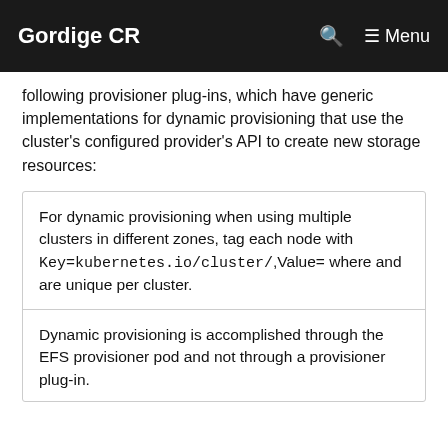Gordige CR
following provisioner plug-ins, which have generic implementations for dynamic provisioning that use the cluster's configured provider's API to create new storage resources:
For dynamic provisioning when using multiple clusters in different zones, tag each node with Key=kubernetes.io/cluster/,Value= where and are unique per cluster.
Dynamic provisioning is accomplished through the EFS provisioner pod and not through a provisioner plug-in.